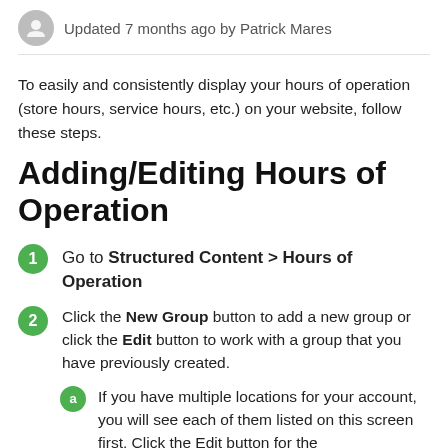Updated 7 months ago by Patrick Mares
To easily and consistently display your hours of operation (store hours, service hours, etc.) on your website, follow these steps.
Adding/Editing Hours of Operation
Go to Structured Content > Hours of Operation
Click the New Group button to add a new group or click the Edit button to work with a group that you have previously created.
If you have multiple locations for your account, you will see each of them listed on this screen first. Click the Edit button for the